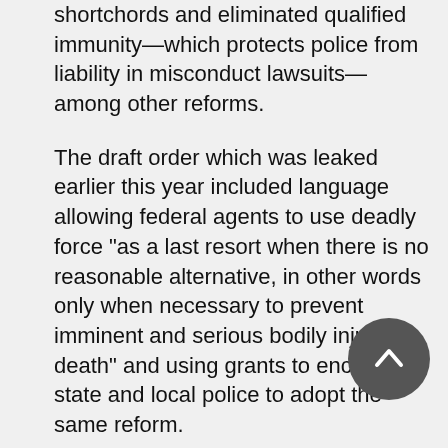shortchords and eliminated qualified immunity—which protects police from liability in misconduct lawsuits—among other reforms.
The draft order which was leaked earlier this year included language allowing federal agents to use deadly force "as a last resort when there is no reasonable alternative, in other words only when necessary to prevent imminent and serious bodily injury or death" and using grants to encourage state and local police to adopt the same reform.
The White House worked closely with the DOJ and police groups following the draft leak, which had prompted police to threaten to end their support for the executive action.
Since the leak, the president has garnered